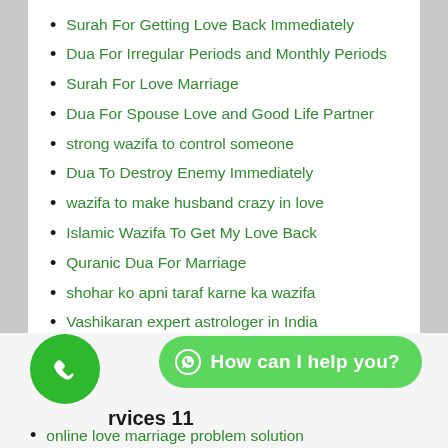Surah For Getting Love Back Immediately
Dua For Irregular Periods and Monthly Periods
Surah For Love Marriage
Dua For Spouse Love and Good Life Partner
strong wazifa to control someone
Dua To Destroy Enemy Immediately
wazifa to make husband crazy in love
Islamic Wazifa To Get My Love Back
Quranic Dua For Marriage
shohar ko apni taraf karne ka wazifa
Vashikaran expert astrologer in India
Black magic specialist Molvi Baba in the USA
rvices 11
How can I help you?
online love marriage problem solution